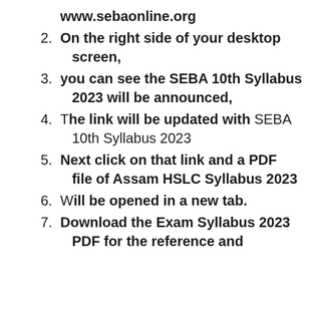www.sebaonline.org
2. On the right side of your desktop screen,
3. you can see the SEBA 10th Syllabus 2023 will be announced,
4. The link will be updated with SEBA 10th Syllabus 2023
5. Next click on that link and a PDF file of Assam HSLC Syllabus 2023
6. Will be opened in a new tab.
7. Download the Exam Syllabus 2023 PDF for the reference and